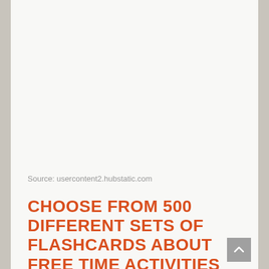Source: usercontent2.hubstatic.com
CHOOSE FROM 500 DIFFERENT SETS OF FLASHCARDS ABOUT FREE TIME ACTIVITIES ON QUIZLET.